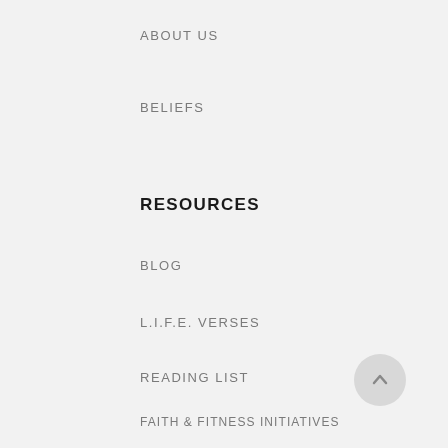ABOUT US
BELIEFS
RESOURCES
BLOG
L.I.F.E. VERSES
READING LIST
FAITH & FITNESS INITIATIVES
INSPIRATIONAL MOVEMENTS
CONTACT US
[Figure (other): Scroll-to-top button, circular grey button with upward arrow]